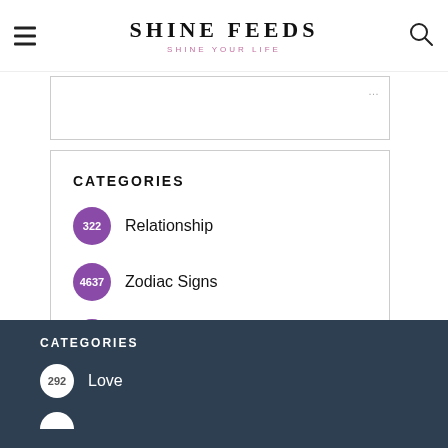SHINE FEEDS — SHINE YOUR LIFE
CATEGORIES
322 Relationship
4637 Zodiac Signs
292 Love
CATEGORIES
292 Love